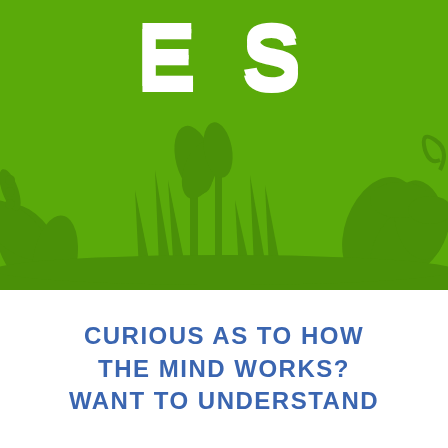ES
[Figure (illustration): Green background with silhouettes of plants, leaves, and vines forming a nature scene. Large white bold letters 'ES' visible at the top.]
CURIOUS AS TO HOW THE MIND WORKS? WANT TO UNDERSTAND